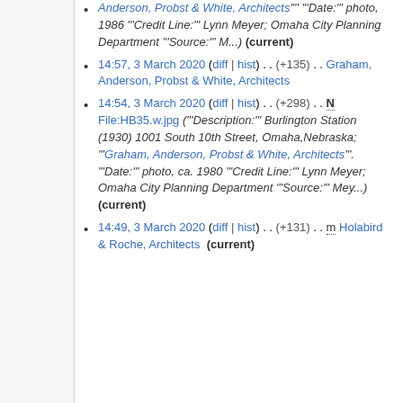Anderson, Probst & White, Architects' "Date:" photo, 1986 "Credit Line:" Lynn Meyer; Omaha City Planning Department "Source:" M...) (current)
14:57, 3 March 2020 (diff | hist) . . (+135) . . Graham, Anderson, Probst & White, Architects
14:54, 3 March 2020 (diff | hist) . . (+298) . . N File:HB35.w.jpg ("Description:" Burlington Station (1930) 1001 South 10th Street, Omaha,Nebraska; "Graham, Anderson, Probst & White, Architects". "Date:" photo, ca. 1980 "Credit Line:" Lynn Meyer; Omaha City Planning Department "Source:" Mey...) (current)
14:49, 3 March 2020 (diff | hist) . . (+131) . . m Holabird & Roche, Architects (current)